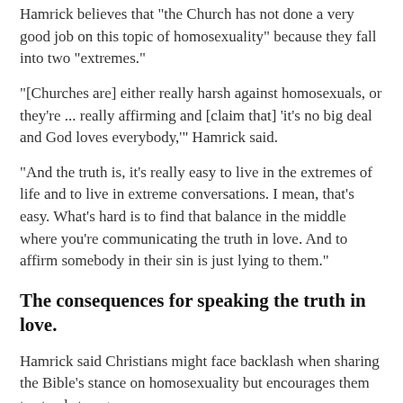Hamrick believes that "the Church has not done a very good job on this topic of homosexuality" because they fall into two "extremes."
"[Churches are] either really harsh against homosexuals, or they're ... really affirming and [claim that] 'it's no big deal and God loves everybody,'" Hamrick said.
"And the truth is, it's really easy to live in the extremes of life and to live in extreme conversations. I mean, that's easy. What's hard is to find that balance in the middle where you're communicating the truth in love. And to affirm somebody in their sin is just lying to them."
The consequences for speaking the truth in love.
Hamrick said Christians might face backlash when sharing the Bible's stance on homosexuality but encourages them to stand strong.
"They may not accept it. … But that's not on you. What's on you is 'how can I communicate this with sensitivity and love,